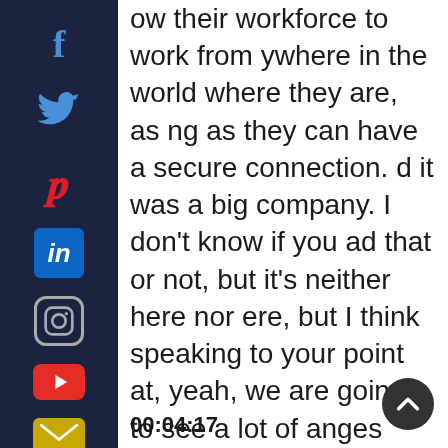[Figure (other): Vertical social media sidebar with icons for Facebook, Twitter, Pinterest, LinkedIn, Instagram, YouTube, and Email on a dark navy background]
ow their workforce to work from ywhere in the world where they are, as ng as they can have a secure connection. d it was a big company. I don't know if you ad that or not, but it's neither here nor ere, but I think speaking to your point at, yeah, we are going to see a lot of anges and I assume technology, trying to ep everybody communicating at their home and keep, PCs working and, Internet's up and all that.
00:04:17